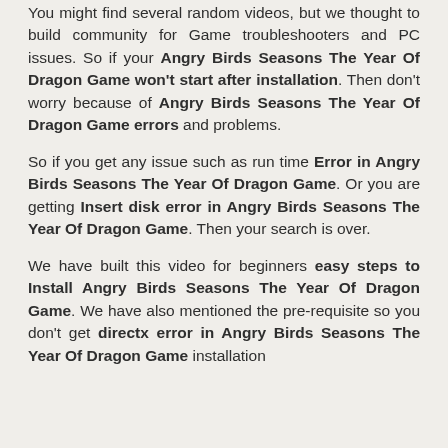You might find several random videos, but we thought to build community for Game troubleshooters and PC issues. So if your Angry Birds Seasons The Year Of Dragon Game won't start after installation. Then don't worry because of Angry Birds Seasons The Year Of Dragon Game errors and problems.
So if you get any issue such as run time Error in Angry Birds Seasons The Year Of Dragon Game. Or you are getting Insert disk error in Angry Birds Seasons The Year Of Dragon Game. Then your search is over.
We have built this video for beginners easy steps to Install Angry Birds Seasons The Year Of Dragon Game. We have also mentioned the pre-requisite so you don't get directx error in Angry Birds Seasons The Year Of Dragon Game installation